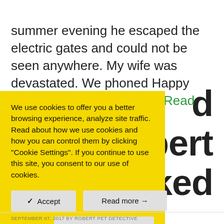summer evening he escaped the electric gates and could not be seen anywhere. My wife was devastated. We phoned Happy Tails and pet detective … [Read more...]
We use cookies to offer you a better browsing experience, analyze site traffic. Read about how we use cookies and how you can control them by clicking "Cookie Settings". If you continue to use this site, you consent to our use of cookies.
✓ Accept   Read more →   Cookie Settings ⚙
SEPTEMBER 07, 2017 BY ROBERT PET DETECTIVE